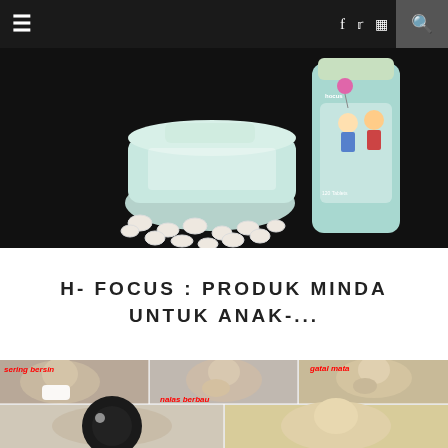≡  f  ✦  ☷  🔍
[Figure (photo): Product photo of H-Focus children's supplement tablets spilling out of a tipped-over bottle, with a colorful cartoon bottle standing upright, against a black background.]
H- FOCUS : PRODUK MINDA UNTUK ANAK-...
[Figure (photo): Collage of allergy symptom images: a man sneezing (sering bersin), a woman covering her nose (nalas berbau), a child rubbing eye (gatal mata), and close-up eye images in the bottom row.]